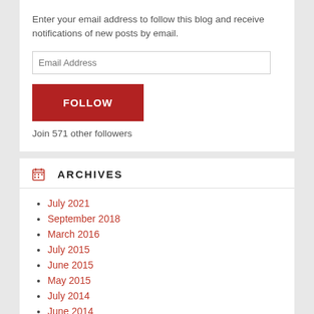Enter your email address to follow this blog and receive notifications of new posts by email.
Join 571 other followers
ARCHIVES
July 2021
September 2018
March 2016
July 2015
June 2015
May 2015
July 2014
June 2014